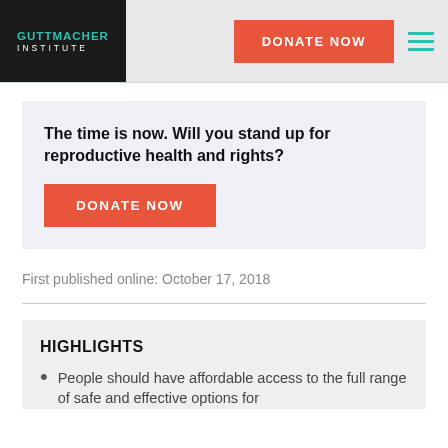GUTTMACHER INSTITUTE
The time is now. Will you stand up for reproductive health and rights?
DONATE NOW
First published online: October 17, 2018
HIGHLIGHTS
People should have affordable access to the full range of safe and effective options for